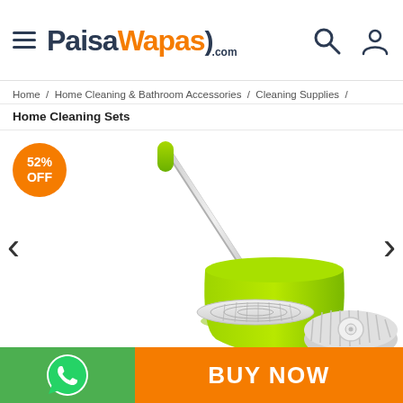PaisaWapas.com
Home / Home Cleaning & Bathroom Accessories / Cleaning Supplies /
Home Cleaning Sets
[Figure (photo): Spin mop with green handle and spin bucket with mop head refill, 52% OFF badge in orange circle, with left and right navigation arrows]
BUY NOW